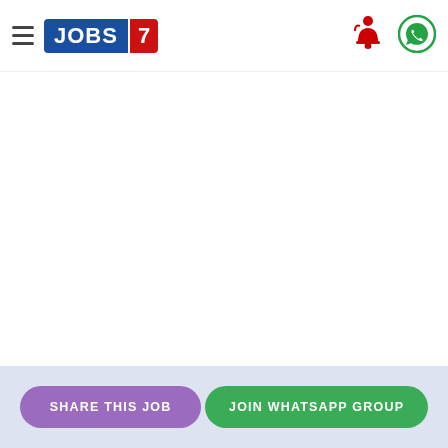JOBS 7 — navigation header with hamburger menu, Jobs7 logo, notification bell, and WhatsApp icon
[Figure (logo): JOBS 7 logo: blue rectangle with white text 'JOBS' and red rectangle with white '7']
[Figure (illustration): Red notification bell icon]
[Figure (illustration): Green WhatsApp icon (phone handset in speech bubble circle)]
SHARE THIS JOB | JOIN WHATSAPP GROUP